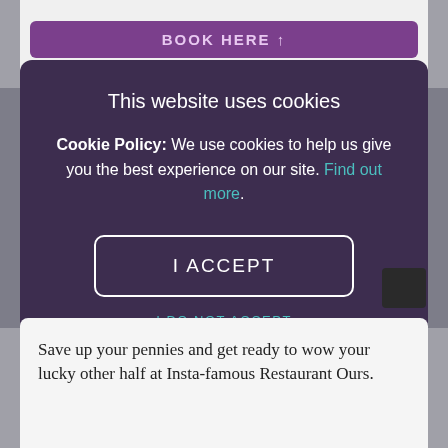[Figure (screenshot): Top portion of a website card with a purple 'BOOK HERE' button]
This website uses cookies
Cookie Policy: We use cookies to help us give you the best experience on our site. Find out more.
I ACCEPT
I DO NOT ACCEPT
Save up your pennies and get ready to wow your lucky other half at Insta-famous Restaurant Ours.